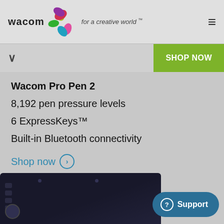wacom · for a creative world™
Wacom Pro Pen 2
8,192 pen pressure levels
6 ExpressKeys™
Built-in Bluetooth connectivity
Shop now
[Figure (photo): Wacom drawing tablet (dark surface with express keys and dial) viewed from above]
Support